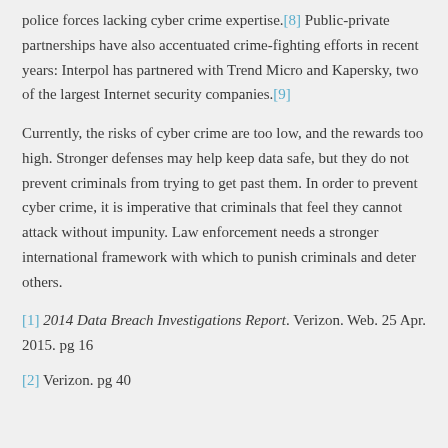police forces lacking cyber crime expertise.[8] Public-private partnerships have also accentuated crime-fighting efforts in recent years: Interpol has partnered with Trend Micro and Kapersky, two of the largest Internet security companies.[9]
Currently, the risks of cyber crime are too low, and the rewards too high. Stronger defenses may help keep data safe, but they do not prevent criminals from trying to get past them. In order to prevent cyber crime, it is imperative that criminals that feel they cannot attack without impunity. Law enforcement needs a stronger international framework with which to punish criminals and deter others.
[1] 2014 Data Breach Investigations Report. Verizon. Web. 25 Apr. 2015. pg 16
[2] Verizon. pg 40